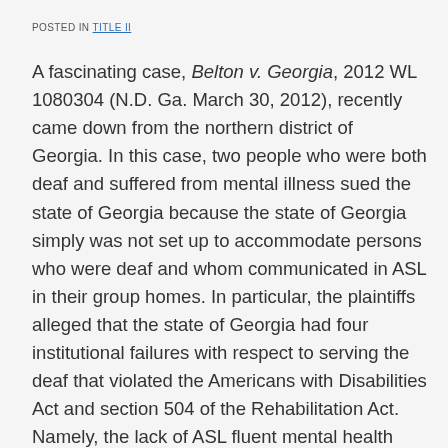POSTED IN TITLE II
A fascinating case, Belton v. Georgia, 2012 WL 1080304 (N.D. Ga. March 30, 2012), recently came down from the northern district of Georgia. In this case, two people who were both deaf and suffered from mental illness sued the state of Georgia because the state of Georgia simply was not set up to accommodate persons who were deaf and whom communicated in ASL in their group homes. In particular, the plaintiffs alleged that the state of Georgia had four institutional failures with respect to serving the deaf that violated the Americans with Disabilities Act and section 504 of the Rehabilitation Act. Namely, the lack of ASL fluent mental health care practitioners; failure to reimburse medical providers for interpreting services; failure to